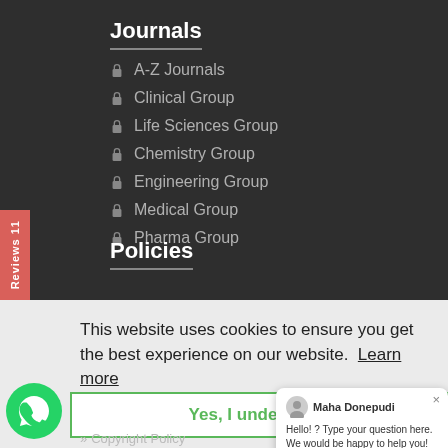Journals
A-Z Journals
Clinical Group
Life Sciences Group
Chemistry Group
Engineering Group
Medical Group
Pharma Group
Policies
This website uses cookies to ensure you get the best experience on our website. Learn more
Yes, I understand
Maha Donepudi
Hello! ? Type your question here. We would be happy to help you!
» Copyright Policy